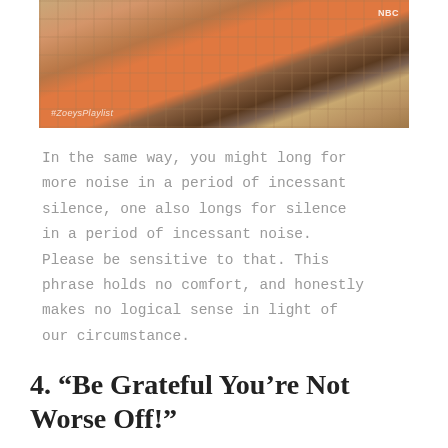[Figure (photo): A person wearing a plaid blazer with an orange sweater underneath and a dark tie. The NBC logo is visible in the top right corner and the hashtag #ZoeysPlaylist is in the bottom left.]
In the same way, you might long for more noise in a period of incessant silence, one also longs for silence in a period of incessant noise. Please be sensitive to that. This phrase holds no comfort, and honestly makes no logical sense in light of our circumstance.
4. “Be Grateful You’re Not Worse Off!”